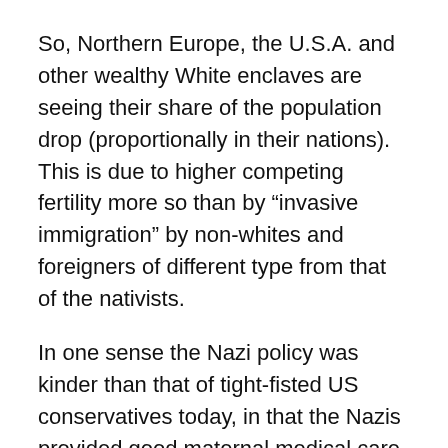So, Northern Europe, the U.S.A. and other wealthy White enclaves are seeing their share of the population drop (proportionally in their nations). This is due to higher competing fertility more so than by “invasive immigration” by non-whites and foreigners of different type from that of the nativists.
In one sense the Nazi policy was kinder than that of tight-fisted US conservatives today, in that the Nazis provided good maternal medical care nationally to their favored “Aryan” portion of the German population (from 1933 till the war destroyed domestic life in Germany).
Jane Elliott’s basic point is that US white supremacist panic about demographic dilution is what lies behind American political anti-abortion. The pseudo-moralistic piety it comes from has been said to be this “pro-life...